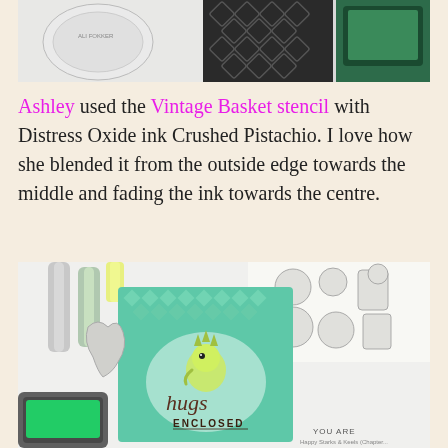[Figure (photo): Top portion of a crafting photo showing stamps, ink pads, and stencil patterns with green ink on white paper]
Ashley used the Vintage Basket stencil with Distress Oxide ink Crushed Pistachio. I love how she blended it from the outside edge towards the middle and fading the ink towards the centre.
[Figure (photo): Crafting photo showing a handmade card with a dinosaur saying 'hugs ENCLOSED', decorated with a teal diamond stencil pattern, alongside green ink pad, copic markers, and stamp sheets with cute animal characters]